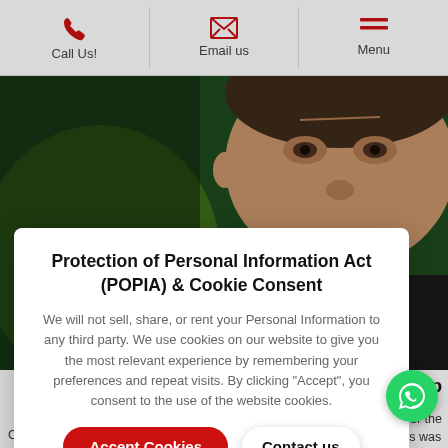Call Us! | Email us | Menu
[Figure (photo): Close-up photo of a man's face against a green and dark background]
Protection of Personal Information Act (POPIA) & Cookie Consent
We will not sell, share, or rent your Personal Information to any third party. We use cookies on our website to give you the most relevant experience by remembering your preferences and repeat visits. By clicking "Accept", you consent to the use of the website cookies.
Accept Cookies
Contact us
ionship
squad for the he news was e Boks will h en e Crusade
Christchurch. The squad will continue their preparations in and...